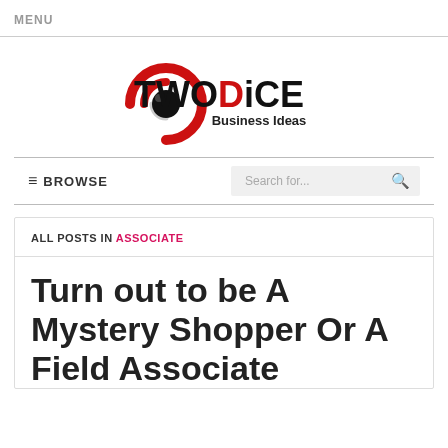MENU
[Figure (logo): TWODiCE Business Ideas logo with red spiral and black dot icon]
BROWSE  Search for...
ALL POSTS IN ASSOCIATE
Turn out to be A Mystery Shopper Or A Field Associate